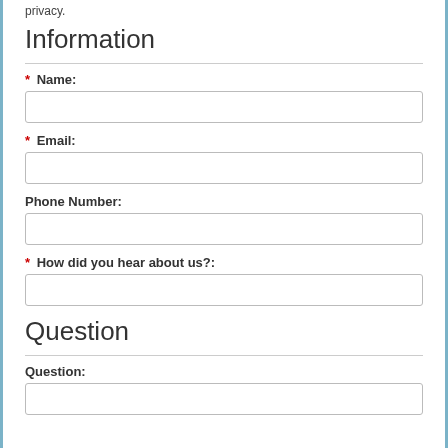privacy.
Information
* Name:
* Email:
Phone Number:
* How did you hear about us?:
Question
Question: